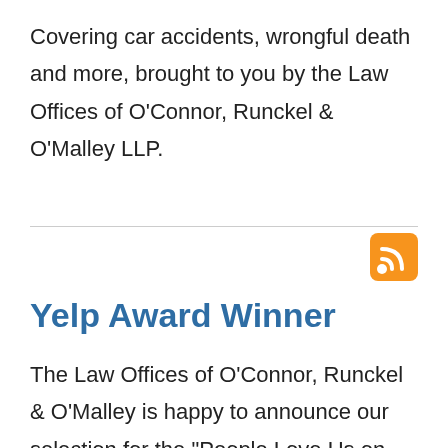Covering car accidents, wrongful death and more, brought to you by the Law Offices of O'Connor, Runckel & O'Malley LLP.
[Figure (logo): RSS feed icon — orange rounded square with white WiFi-style signal arcs]
Yelp Award Winner
The Law Offices of O'Connor, Runckel & O'Malley is happy to announce our selection for the "People Love Us on Yelp" award for 2017. Yelp is the top business review website,